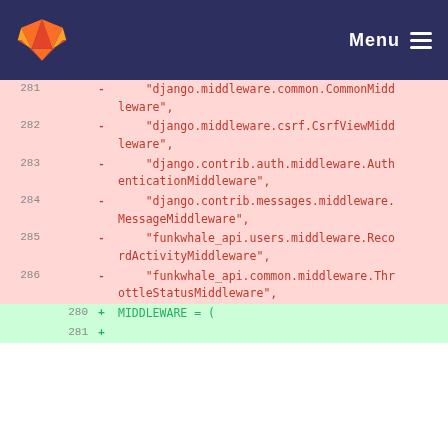GitLab logo | Menu
281 - "django.middleware.common.CommonMiddleware",
282 - "django.middleware.csrf.CsrfViewMiddleware",
283 - "django.contrib.auth.middleware.AuthenticationMiddleware",
284 - "django.contrib.messages.middleware.MessageMiddleware",
285 - "funkwhale_api.users.middleware.RecordActivityMiddleware",
286 - "funkwhale_api.common.middleware.ThrottleStatusMiddleware",
280 + MIDDLEWARE = (
281 +